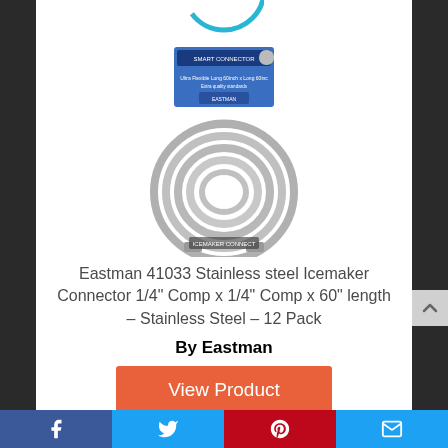[Figure (photo): Product photo of Eastman 41033 stainless steel icemaker connector hose coiled, with blue packaging card visible at top]
Eastman 41033 Stainless steel Icemaker Connector 1/4" Comp x 1/4" Comp x 60" length – Stainless Steel – 12 Pack
By Eastman
View Product
9.4
Facebook | Twitter | Pinterest | Email